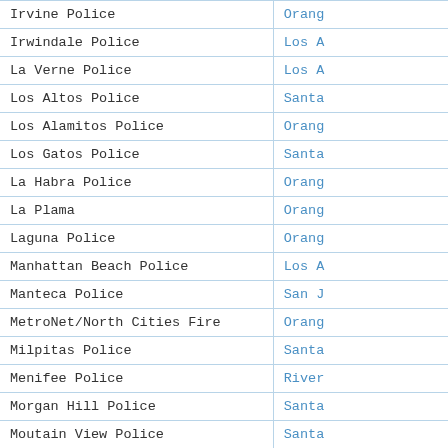| Agency | County |
| --- | --- |
| Irvine Police | Orang... |
| Irwindale Police | Los A... |
| La Verne Police | Los A... |
| Los Altos Police | Santa... |
| Los Alamitos Police | Orang... |
| Los Gatos Police | Santa... |
| La Habra Police | Orang... |
| La Plama | Orang... |
| Laguna Police | Orang... |
| Manhattan Beach Police | Los A... |
| Manteca Police | San J... |
| MetroNet/North Cities Fire | Orang... |
| Milpitas Police | Santa... |
| Menifee Police | River... |
| Morgan Hill Police | Santa... |
| Moutain View Police | Santa... |
| Murrieta Police | River... |
| Mountain View Fire | Santa... |
| Newport Beach Police | Orang... |